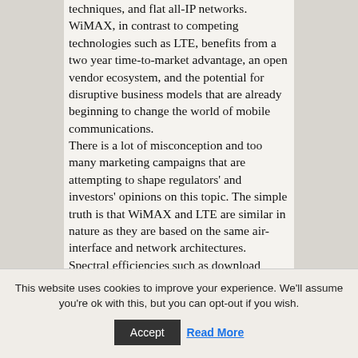techniques, and flat all-IP networks. WiMAX, in contrast to competing technologies such as LTE, benefits from a two year time-to-market advantage, an open vendor ecosystem, and the potential for disruptive business models that are already beginning to change the world of mobile communications. There is a lot of misconception and too many marketing campaigns that are attempting to shape regulators' and investors' opinions on this topic. The simple truth is that WiMAX and LTE are similar in nature as they are based on the same air-interface and network architectures. Spectral efficiencies such as download speeds and cell-ranges are
This website uses cookies to improve your experience. We'll assume you're ok with this, but you can opt-out if you wish.